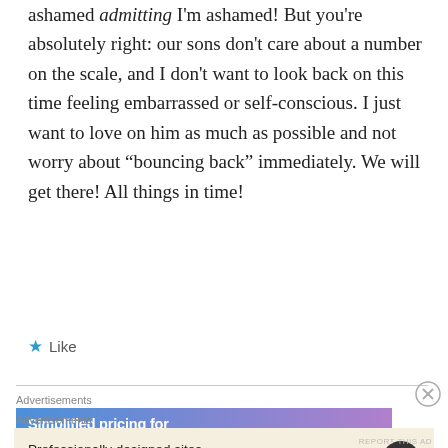ashamed admitting I'm ashamed! But you're absolutely right: our sons don't care about a number on the scale, and I don't want to look back on this time feeling embarrassed or self-conscious. I just want to love on him as much as possible and not worry about “bouncing back” immediately. We will get there! All things in time!
Like
Advertisements
[Figure (screenshot): Blue to purple gradient advertisement banner showing 'Simplified pricing for' text in white]
Advertisements
[Figure (screenshot): WordPress ad with beige background: 'Professionally designed sites in less than a week' with WordPress circular logo]